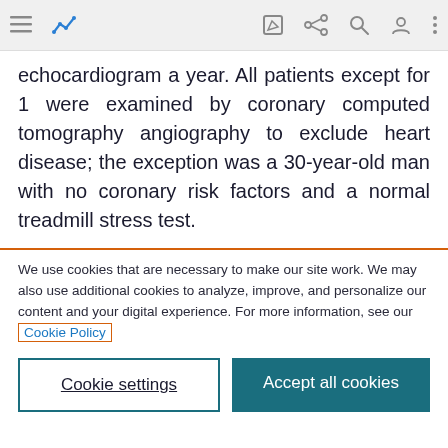[Browser toolbar with navigation icons]
echocardiogram a year. All patients except for 1 were examined by coronary computed tomography angiography to exclude heart disease; the exception was a 30-year-old man with no coronary risk factors and a normal treadmill stress test.
We use cookies that are necessary to make our site work. We may also use additional cookies to analyze, improve, and personalize our content and your digital experience. For more information, see our Cookie Policy
Cookie settings
Accept all cookies